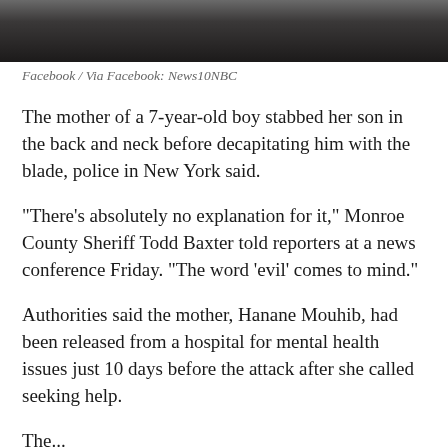[Figure (photo): News conference scene with microphones and reporters, partially cropped at top]
Facebook / Via Facebook: News10NBC
The mother of a 7-year-old boy stabbed her son in the back and neck before decapitating him with the blade, police in New York said.
"There's absolutely no explanation for it," Monroe County Sheriff Todd Baxter told reporters at a news conference Friday. "The word 'evil' comes to mind."
Authorities said the mother, Hanane Mouhib, had been released from a hospital for mental health issues just 10 days before the attack after she called seeking help.
The...